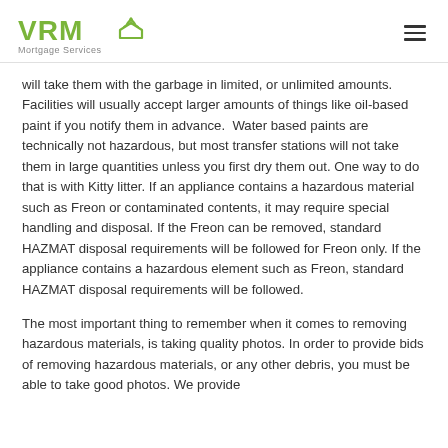[Figure (logo): VRM Mortgage Services logo with green text and house/wifi icon]
will take them with the garbage in limited, or unlimited amounts. Facilities will usually accept larger amounts of things like oil-based paint if you notify them in advance. Water based paints are technically not hazardous, but most transfer stations will not take them in large quantities unless you first dry them out. One way to do that is with Kitty litter. If an appliance contains a hazardous material such as Freon or contaminated contents, it may require special handling and disposal. If the Freon can be removed, standard HAZMAT disposal requirements will be followed for Freon only. If the appliance contains a hazardous element such as Freon, standard HAZMAT disposal requirements will be followed.
The most important thing to remember when it comes to removing hazardous materials, is taking quality photos. In order to provide bids of removing hazardous materials, or any other debris, you must be able to take good photos. We provide